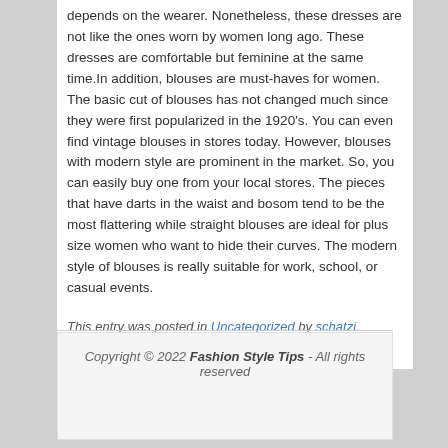depends on the wearer. Nonetheless, these dresses are not like the ones worn by women long ago. These dresses are comfortable but feminine at the same time.In addition, blouses are must-haves for women. The basic cut of blouses has not changed much since they were first popularized in the 1920's. You can even find vintage blouses in stores today. However, blouses with modern style are prominent in the market. So, you can easily buy one from your local stores. The pieces that have darts in the waist and bosom tend to be the most flattering while straight blouses are ideal for plus size women who want to hide their curves. The modern style of blouses is really suitable for work, school, or casual events.
This entry was posted in Uncategorized by schatzi. Bookmark the permalink.
Copyright © 2022 Fashion Style Tips - All rights reserved